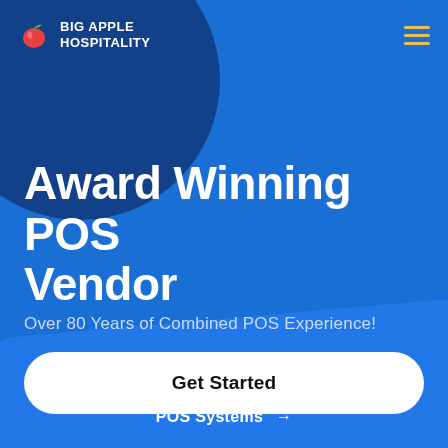Big Apple Hospitality
Award Winning POS Vendor
Over 80 Years of Combined POS Experience!
Get Started
POS Systems →